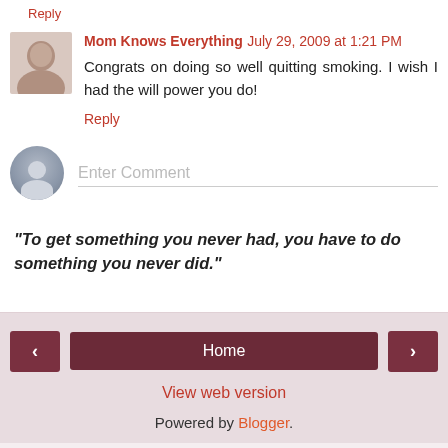Reply
Mom Knows Everything July 29, 2009 at 1:21 PM
Congrats on doing so well quitting smoking. I wish I had the will power you do!
Reply
Enter Comment
"To get something you never had, you have to do something you never did."
Home  View web version  Powered by Blogger.